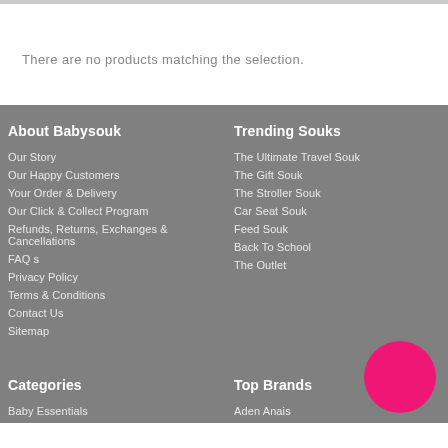There are no products matching the selection.
About Babysouk
Our Story
Our Happy Customers
Your Order & Delivery
Our Click & Collect Program
Refunds, Returns, Exchanges & Cancellations
FAQ s
Privacy Policy
Terms & Conditions
Contact Us
Sitemap
Trending Souks
The Ultimate Travel Souk
The Gift Souk
The Stroller Souk
Car Seat Souk
Feed Souk
Back To School
The Outlet
Categories
Baby Essentials
Top Brands
Aden Anais